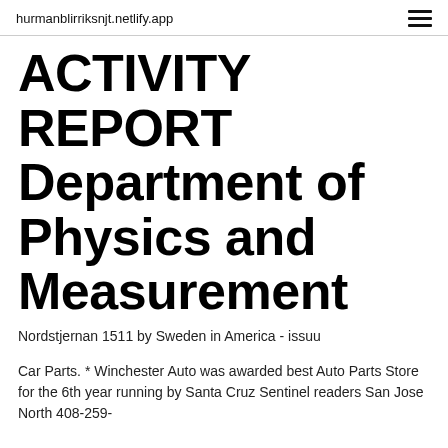hurmanblirriksnjt.netlify.app
ACTIVITY REPORT Department of Physics and Measurement
Nordstjernan 1511 by Sweden in America - issuu
Car Parts. * Winchester Auto was awarded best Auto Parts Store for the 6th year running by Santa Cruz Sentinel readers San Jose North 408-259-